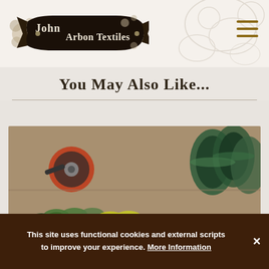[Figure (logo): John Arbon Textiles logo — decorative banner with floral motifs and the text 'John Arbon Textiles']
[Figure (illustration): Hamburger menu icon (three horizontal brown lines) in the top right of the header]
You May Also Like...
[Figure (photo): Photo of colorful mini skeins of yarn arranged on a surface, with large spools of yarn in the background. Colors include green, yellow, coral/pink, and white.]
This site uses functional cookies and external scripts to improve your experience. More Information